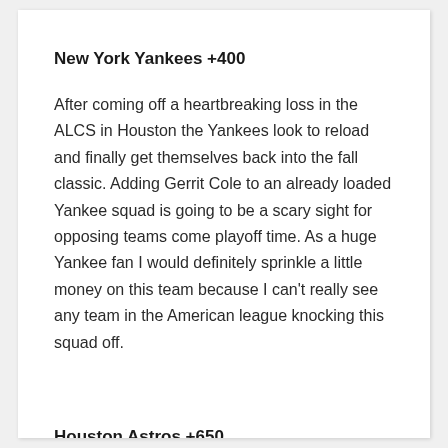New York Yankees +400
After coming off a heartbreaking loss in the ALCS in Houston the Yankees look to reload and finally get themselves back into the fall classic. Adding Gerrit Cole to an already loaded Yankee squad is going to be a scary sight for opposing teams come playoff time. As a huge Yankee fan I would definitely sprinkle a little money on this team because I can't really see any team in the American league knocking this squad off.
Houston Astros +650